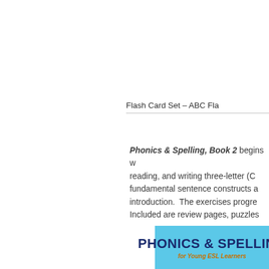Flash Card Set – ABC Fla
Phonics & Spelling, Book 2 begins w reading, and writing three-letter (C fundamental sentence constructs a introduction.  The exercises progre Included are review pages, puzzles
[Figure (logo): Phonics & Spelling for Young ESL Learners banner in light blue with dark blue bold text and orange subtitle]